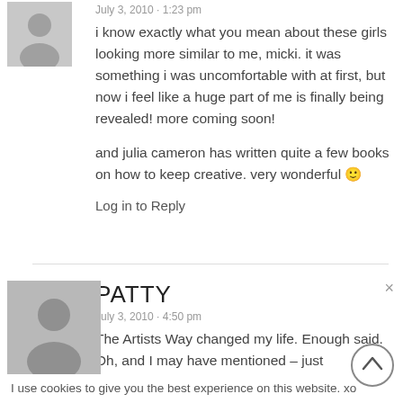July 3, 2010 · 1:23 pm
i know exactly what you mean about these girls looking more similar to me, micki. it was something i was uncomfortable with at first, but now i feel like a huge part of me is finally being revealed! more coming soon!
and julia cameron has written quite a few books on how to keep creative. very wonderful 🙂
Log in to Reply
PATTY
July 3, 2010 · 4:50 pm
The Artists Way changed my life. Enough said. Oh, and I may have mentioned – just